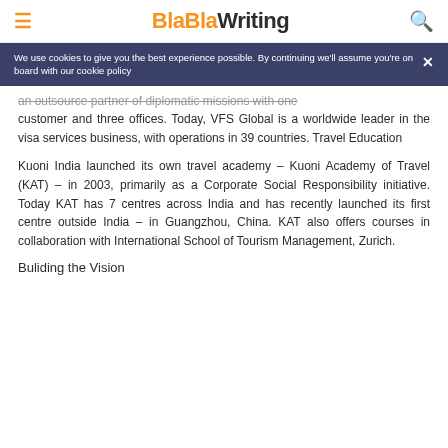BlaBlaWriting
We use cookies to give you the best experience possible. By continuing we'll assume you're on board with our cookie policy
an outsource partner of diplomatic missions with one customer and three offices. Today, VFS Global is a worldwide leader in the visa services business, with operations in 39 countries. Travel Education
Kuoni India launched its own travel academy – Kuoni Academy of Travel (KAT) – in 2003, primarily as a Corporate Social Responsibility initiative. Today KAT has 7 centres across India and has recently launched its first centre outside India – in Guangzhou, China. KAT also offers courses in collaboration with International School of Tourism Management, Zurich.
Buliding the Vision